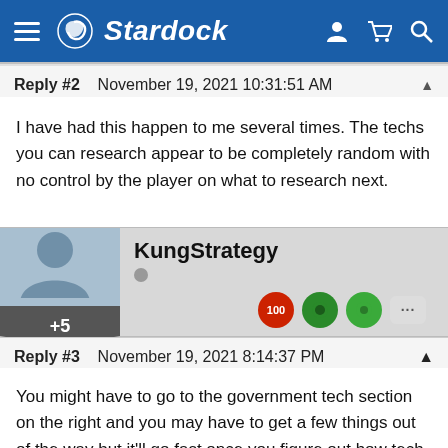Stardock
Reply #2   November 19, 2021 10:31:51 AM
I have had this happen to me several times. The techs you can research appear to be completely random with no control by the player on what to research next.
KungStrategy
Reply #3   November 19, 2021 8:14:37 PM
You might have to go to the government tech section on the right and you may have to get a few things out of the way but it'll go fast once you figure out how tech works in this game. I made a whole video about ithttps://youtu.be/DM19EnaPhgI